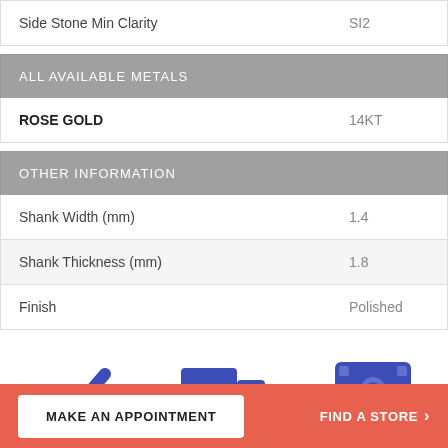| Property | Value |
| --- | --- |
| Side Stone Min Clarity | SI2 |
ALL AVAILABLE METALS
| Metal | Karat |
| --- | --- |
| ROSE GOLD | 14KT |
OTHER INFORMATION
| Property | Value |
| --- | --- |
| Shank Width (mm) | 1.4 |
| Shank Thickness (mm) | 1.8 |
| Finish | Polished |
[Figure (infographic): Three icons: a blue checkmark, a blue delivery truck, and a blue banknote/cash icon]
MAKE AN APPOINTMENT
FIND A STORE >